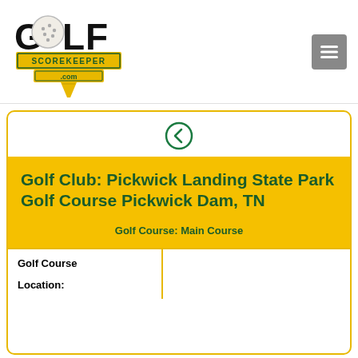[Figure (logo): Golf Scorekeeper .com logo with golf ball and pencil/tee icon]
[Figure (other): Gray hamburger menu button (three horizontal lines)]
[Figure (other): Circular back arrow navigation icon]
Golf Club: Pickwick Landing State Park Golf Course Pickwick Dam, TN
Golf Course: Main Course
| Golf Course |  |
| --- | --- |
| Location: |  |